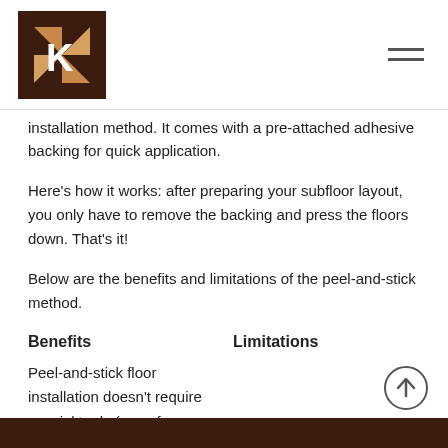[Logo and navigation header]
installation method. It comes with a pre-attached adhesive backing for quick application.
Here's how it works: after preparing your subfloor layout, you only have to remove the backing and press the floors down. That's it!
Below are the benefits and limitations of the peel-and-stick method.
Benefits
Limitations
Peel-and-stick floor installation doesn't require special tools (even for emergency fixes) unless the
It's short-lived compared to other flooring options.